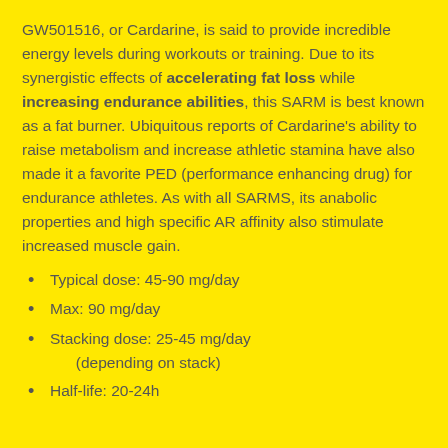GW501516, or Cardarine, is said to provide incredible energy levels during workouts or training. Due to its synergistic effects of accelerating fat loss while increasing endurance abilities, this SARM is best known as a fat burner. Ubiquitous reports of Cardarine's ability to raise metabolism and increase athletic stamina have also made it a favorite PED (performance enhancing drug) for endurance athletes. As with all SARMS, its anabolic properties and high specific AR affinity also stimulate increased muscle gain.
Typical dose: 45-90 mg/day
Max: 90 mg/day
Stacking dose: 25-45 mg/day (depending on stack)
Half-life: 20-24h